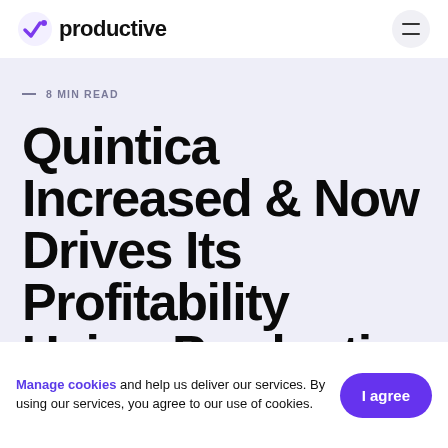productive
— 8 MIN READ
Quintica Increased & Now Drives Its Profitability Using Productive
Manage cookies and help us deliver our services. By using our services, you agree to our use of cookies.